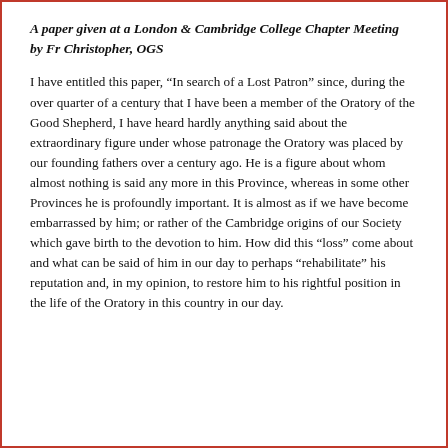A paper given at a London & Cambridge College Chapter Meeting
by Fr Christopher, OGS
I have entitled this paper, “In search of a Lost Patron” since, during the over quarter of a century that I have been a member of the Oratory of the Good Shepherd, I have heard hardly anything said about the extraordinary figure under whose patronage the Oratory was placed by our founding fathers over a century ago. He is a figure about whom almost nothing is said any more in this Province, whereas in some other Provinces he is profoundly important. It is almost as if we have become embarrassed by him; or rather of the Cambridge origins of our Society which gave birth to the devotion to him. How did this “loss” come about and what can be said of him in our day to perhaps “rehabilitate” his reputation and, in my opinion, to restore him to his rightful position in the life of the Oratory in this country in our day.